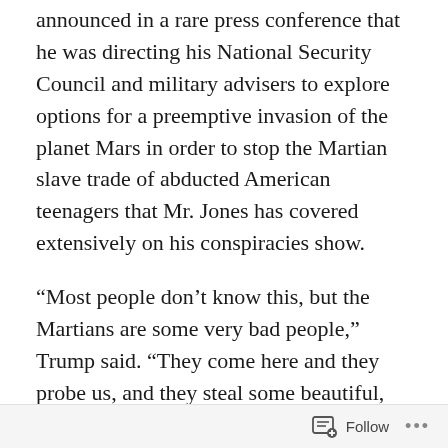announced in a rare press conference that he was directing his National Security Council and military advisers to explore options for a preemptive invasion of the planet Mars in order to stop the Martian slave trade of abducted American teenagers that Mr. Jones has covered extensively on his conspiracies show.
“Most people don’t know this, but the Martians are some very bad people,” Trump said. “They come here and they probe us, and they steal some beautiful, just beautiful teenagers and take them back to Mars, which, by the way, means that the Martians are just killing us in a teenager trade war. I’ve always said President Obama should have done more to stop the Martians, but I promise you that I will get the job done. And Hillary Clinton—as I’m sure you
Follow ...